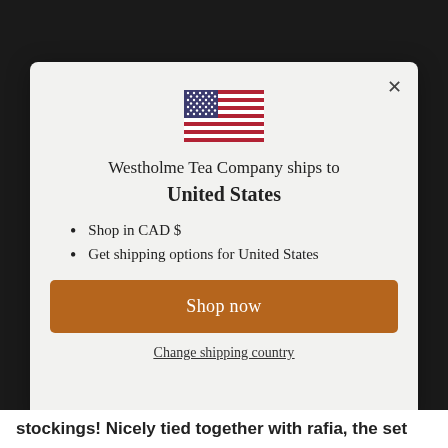[Figure (illustration): US flag emoji/icon centered at top of modal dialog]
Westholme Tea Company ships to United States
Shop in CAD $
Get shipping options for United States
Shop now
Change shipping country
stockings! Nicely tied together with rafia, the set